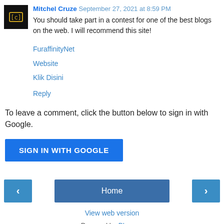Mitchel Cruze  September 27, 2021 at 8:59 PM
You should take part in a contest for one of the best blogs on the web. I will recommend this site!
FuraffinityNet
Website
Klik Disini
Reply
To leave a comment, click the button below to sign in with Google.
[Figure (other): SIGN IN WITH GOOGLE button]
[Figure (other): Navigation bar with left arrow, Home button, right arrow]
View web version
Powered by Blogger.